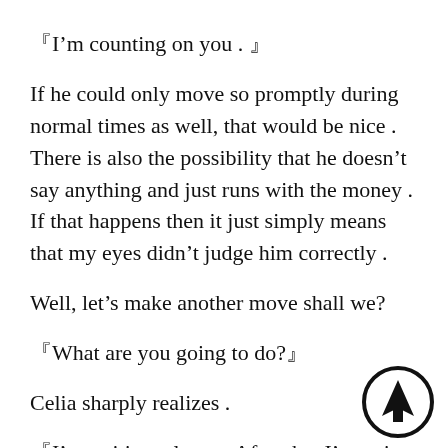『I’m counting on you . 』
If he could only move so promptly during normal times as well, that would be nice . There is also the possibility that he doesn’t say anything and just runs with the money . If that happens then it just simply means that my eyes didn’t judge him correctly .
Well, let’s make another move shall we?
『What are you going to do?』
Celia sharply realizes .
『I’m writing a letter . After that I’m going on a sho』 』